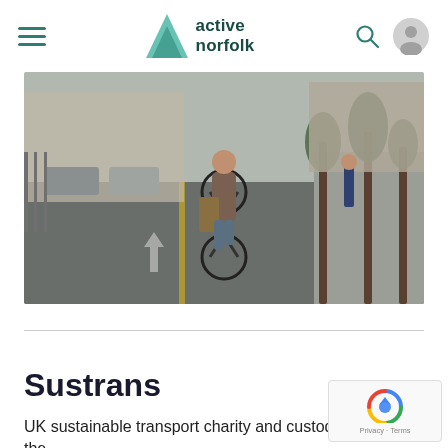active norfolk
[Figure (photo): A person riding a bicycle on an urban street, viewed from behind, carrying a bag, with trees and parked cars on the side.]
Sustrans
UK sustainable transport charity and custodians of the